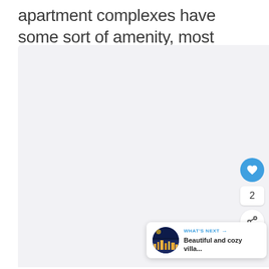apartment complexes have some sort of amenity, most likely more.
[Figure (photo): Large light gray placeholder image area in the center of the page, representing a photo section]
[Figure (infographic): UI overlay elements: heart/like button (blue circle with heart icon), like count showing '2', share button (white circle with share icon), and a 'WHAT'S NEXT' card showing a thumbnail of a night cityscape and text 'Beautiful and cozy villa...']